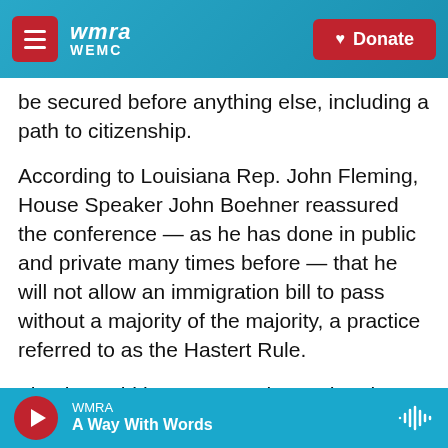wmra WEMC | Donate
be secured before anything else, including a path to citizenship.
According to Louisiana Rep. John Fleming, House Speaker John Boehner reassured the conference — as he has done in public and private many times before — that he will not allow an immigration bill to pass without a majority of the majority, a practice referred to as the Hastert Rule.
Fleming said he trusts Boehner when he says any immigration bill will pass with a majority of the majority. But he still worries that the Senate could take that bill up, modify it and then jam the House.
WMRA | A Way With Words